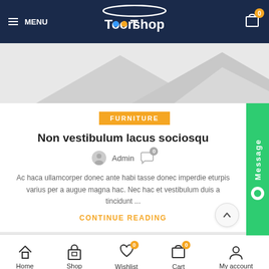MENU | Toorshop | Cart 0
[Figure (illustration): Gray mountain/chevron shape hero image placeholder on white/light gray background]
FURNITURE
Non vestibulum lacus sociosqu
Admin  0
Ac haca ullamcorper donec ante habi tasse donec imperdie eturpis varius per a augue magna hac. Nec hac et vestibulum duis a tincidunt ...
CONTINUE READING
Home  Shop  Wishlist 0  Cart 0  My account